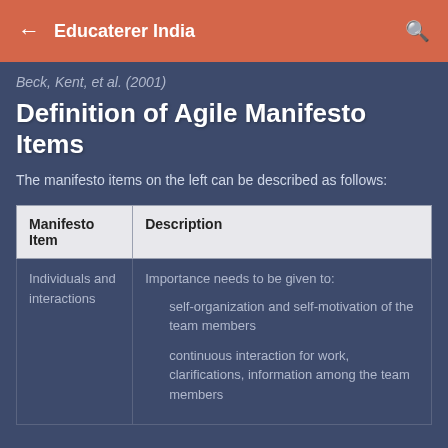Educaterer India
Beck, Kent, et al. (2001)
Definition of Agile Manifesto Items
The manifesto items on the left can be described as follows:
| Manifesto Item | Description |
| --- | --- |
| Individuals and interactions | Importance needs to be given to:
• self-organization and self-motivation of the team members
• continuous interaction for work, clarifications, information among the team members |